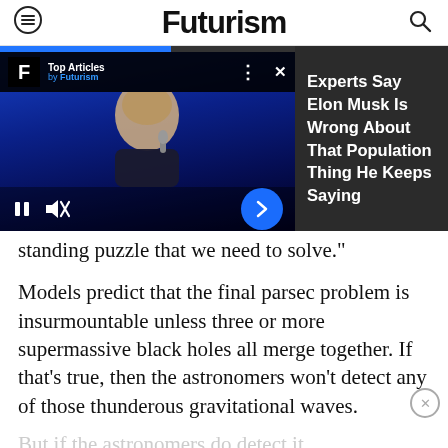Futurism
[Figure (screenshot): Video player showing a man holding a microphone on a blue-lit stage, with a 'Top Articles by Futurism' overlay bar. Controls include pause, mute, and a blue arrow button. Right sidebar shows dark panel with article teaser text.]
Experts Say Elon Musk Is Wrong About That Population Thing He Keeps Saying
standing puzzle that we need to solve."
Models predict that the final parsec problem is insurmountable unless three or more supermassive black holes all merge together. If that's true, then the astronomers won't detect any of those thunderous gravitational waves.
But if the astronomers do detect it...